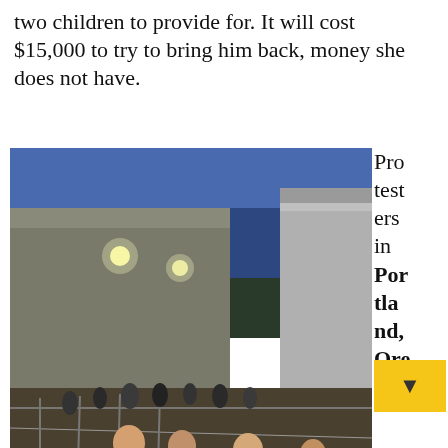two children to provide for. It will cost $15,000 to try to bring him back, money she does not have.
[Figure (photo): Protesters marching outside a facility at dusk/evening, with lights illuminating an industrial building in the background. People in the foreground walking along a fence line.]
Protesters in Portland, Ore.,
Portland, Ore
Get the latest updates from Workers World
Email address
Subscribe